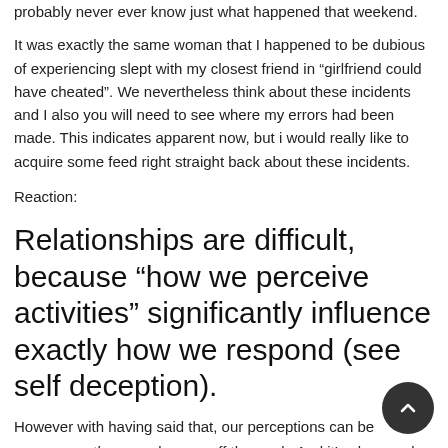probably never ever know just what happened that weekend.
It was exactly the same woman that I happened to be dubious of experiencing slept with my closest friend in “girlfriend could have cheated”. We nevertheless think about these incidents and I also you will need to see where my errors had been made. This indicates apparent now, but i would really like to acquire some feed right straight back about these incidents.
Reaction:
Relationships are difficult, because “how we perceive activities” significantly influence exactly how we respond (see self deception).
However with having said that, our perceptions can be accurate or they may be way off the mark. And it’s also nearly impossible to